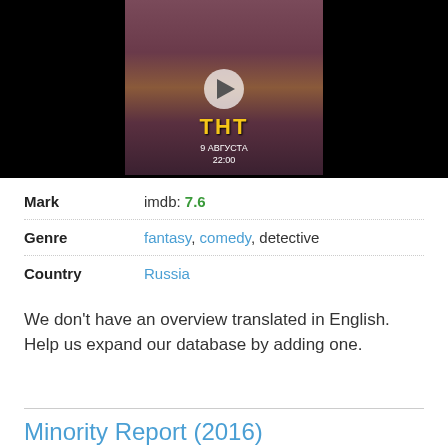[Figure (screenshot): Video thumbnail showing a movie/show promotional image with cast members in dark fantasy costumes against a dark background. Center shows a play button. A movie poster with TNT logo and text '9 АВГУСТА 22:00' is visible in the middle portion.]
| Mark | imdb: 7.6 |
| Genre | fantasy, comedy, detective |
| Country | Russia |
We don't have an overview translated in English. Help us expand our database by adding one.
Minority Report (2016)